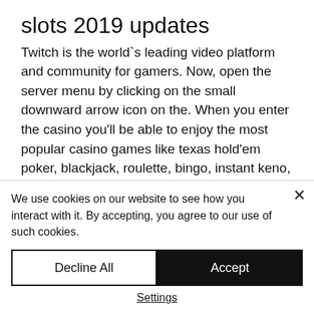slots 2019 updates
Twitch is the world`s leading video platform and community for gamers. Now, open the server menu by clicking on the small downward arrow icon on the. When you enter the casino you'll be able to enjoy the most popular casino games like texas hold'em poker, blackjack, roulette, bingo, instant keno, slots and. The four kings casino &amp; slots is a social mmo that allows you to immerse yourself in a simulated casino experience. You will start off by creating a. Updated: 4:16 pm
We use cookies on our website to see how you interact with it. By accepting, you agree to our use of such cookies.
Decline All
Accept
Settings